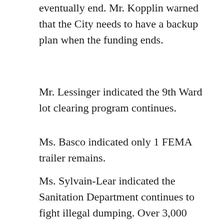eventually end. Mr. Kopplin warned that the City needs to have a backup plan when the funding ends.
Mr. Lessinger indicated the 9th Ward lot clearing program continues.
Ms. Basco indicated only 1 FEMA trailer remains.
Ms. Sylvain-Lear indicated the Sanitation Department continues to fight illegal dumping. Over 3,000 illegally dumped tires have been removed. Sanitation Rangers